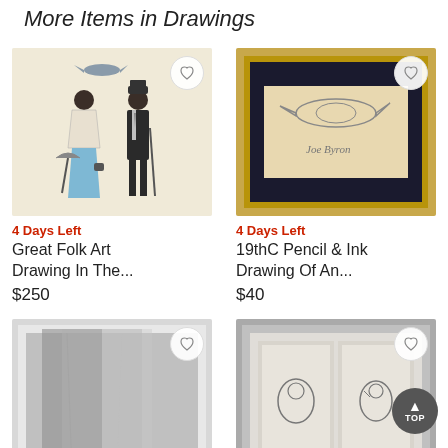More Items in Drawings
[Figure (photo): Folk art drawing of two figures - a woman in blue dress and a man in a hat, with a bird above, on cream background with gold frame]
4 Days Left
Great Folk Art Drawing In The...
$250
[Figure (photo): 19th century pencil and ink drawing of a bird with cursive text, in gold frame with dark mat]
4 Days Left
19thC Pencil & Ink Drawing Of An...
$40
[Figure (photo): Abstract grey drawing in a silver/white frame, showing two tall vertical shadowy forms]
[Figure (photo): Two small framed drawings in a silver frame showing bird sketches]